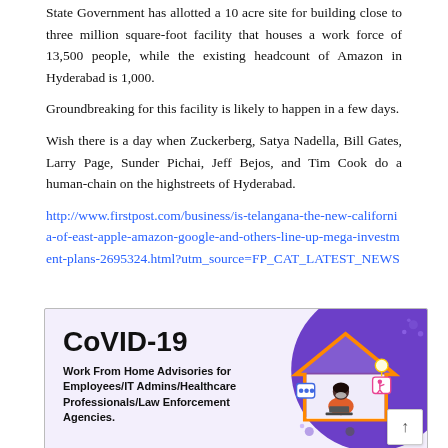State Government has allotted a 10 acre site for building close to three million square-foot facility that houses a work force of 13,500 people, while the existing headcount of Amazon in Hyderabad is 1,000.
Groundbreaking for this facility is likely to happen in a few days.
Wish there is a day when Zuckerberg, Satya Nadella, Bill Gates, Larry Page, Sunder Pichai, Jeff Bejos, and Tim Cook do a human-chain on the highstreets of Hyderabad.
http://www.firstpost.com/business/is-telangana-the-new-california-of-east-apple-amazon-google-and-others-line-up-mega-investment-plans-2695324.html?utm_source=FP_CAT_LATEST_NEWS
[Figure (infographic): CoVID-19 Work From Home Advisories for Employees/IT Admins/Healthcare Professionals/Law Enforcement Agencies. Purple circular background with illustration of a woman working from home on a laptop inside a house outline, with various icons.]